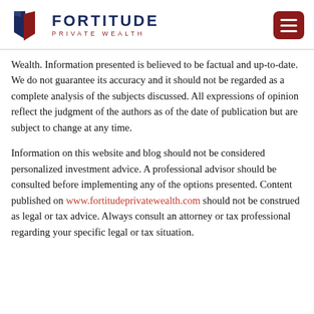[Figure (logo): Fortitude Private Wealth logo with shield icon and hamburger menu button]
Wealth. Information presented is believed to be factual and up-to-date. We do not guarantee its accuracy and it should not be regarded as a complete analysis of the subjects discussed. All expressions of opinion reflect the judgment of the authors as of the date of publication but are subject to change at any time.
Information on this website and blog should not be considered personalized investment advice. A professional advisor should be consulted before implementing any of the options presented. Content published on www.fortitudeprivatewealth.com should not be construed as legal or tax advice. Always consult an attorney or tax professional regarding your specific legal or tax situation.